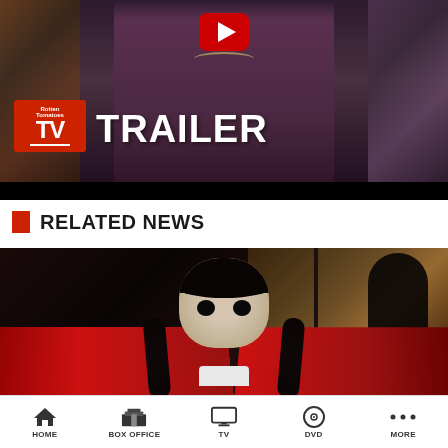[Figure (screenshot): YouTube-style video thumbnail showing a Rotten Tomatoes TV Trailer preview. A figure in a dark purple/maroon dress stands in front of stained glass windows. A red Rotten Tomatoes TV badge is in the lower left and large white TRAILER text is overlaid. A YouTube play button appears at the top center.]
RELATED NEWS
[Figure (photo): Photo of a young actress with black braided hair and pale complexion (Wednesday Addams character) sitting in the back seat of a car with red upholstery. Another dark figure is visible in the background. Autumn trees visible through the window.]
HOME   BOX OFFICE   TV   DVD   MORE